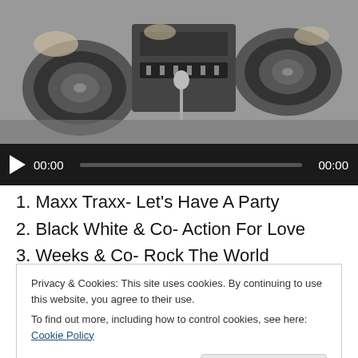[Figure (photo): Black and white photo of a DJ with turntables and mixing equipment]
[Figure (screenshot): Audio player bar with play button, timestamp 00:00, progress bar, and end time 00:00 on dark background]
1. Maxx Traxx- Let's Have A Party
2. Black White & Co- Action For Love
3. Weeks & Co- Rock The World
4. Michael Wycoff- Looking Up To You
Privacy & Cookies: This site uses cookies. By continuing to use this website, you agree to their use.
To find out more, including how to control cookies, see here: Cookie Policy
5. Gene Van Buren- I Give Good Love